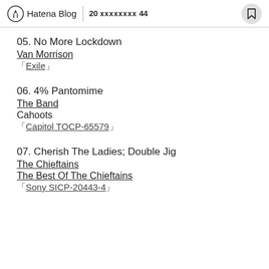Hatena Blog  20 xxxxxxxx 44
05. No More Lockdown
Van Morrison
「Exile」
06. 4% Pantomime
The Band
Cahoots
「Capitol TOCP-65579」
07. Cherish The Ladies; Double Jig
The Chieftains
The Best Of The Chieftains
「Sony SICP-20443-4」